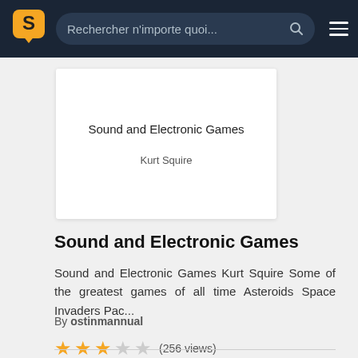Rechercher n'importe quoi...
[Figure (screenshot): Book cover preview showing title 'Sound and Electronic Games' by Kurt Squire on white background]
Sound and Electronic Games
Sound and Electronic Games Kurt Squire Some of the greatest games of all time Asteroids Space Invaders Pac...
By ostinmannual
★★★☆☆ (256 views)